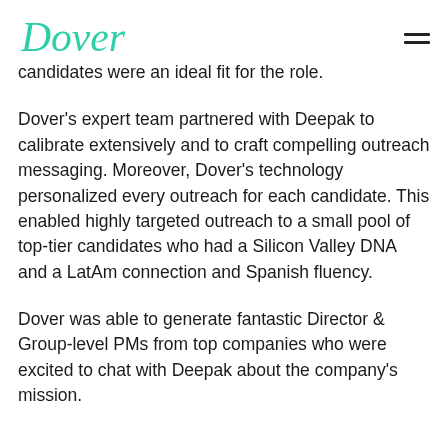Dover
candidates were an ideal fit for the role.
Dover's expert team partnered with Deepak to calibrate extensively and to craft compelling outreach messaging. Moreover, Dover's technology personalized every outreach for each candidate. This enabled highly targeted outreach to a small pool of top-tier candidates who had a Silicon Valley DNA and a LatAm connection and Spanish fluency.
Dover was able to generate fantastic Director & Group-level PMs from top companies who were excited to chat with Deepak about the company's mission.